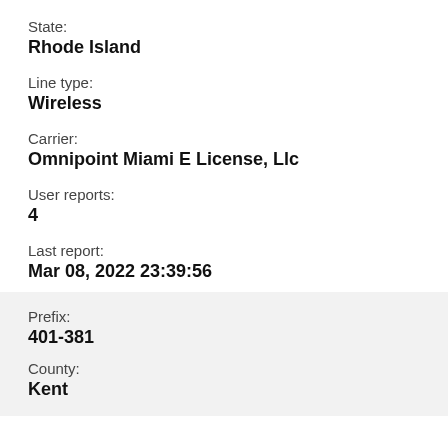State:
Rhode Island
Line type:
Wireless
Carrier:
Omnipoint Miami E License, Llc
User reports:
4
Last report:
Mar 08, 2022 23:39:56
Prefix:
401-381
County:
Kent